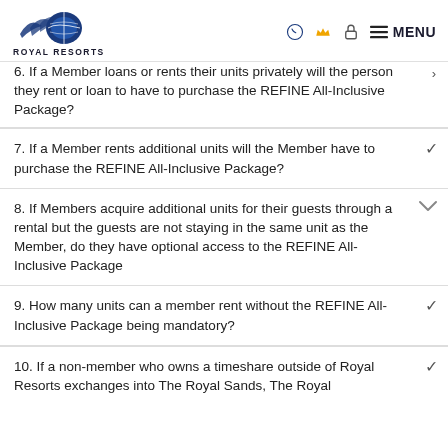Royal Resorts | MENU
6. If a Member loans or rents their units privately will the person they rent or loan to have to purchase the REFINE All-Inclusive Package?
7. If a Member rents additional units will the Member have to purchase the REFINE All-Inclusive Package?
8. If Members acquire additional units for their guests through a rental but the guests are not staying in the same unit as the Member, do they have optional access to the REFINE All-Inclusive Package
9. How many units can a member rent without the REFINE All-Inclusive Package being mandatory?
10. If a non-member who owns a timeshare outside of Royal Resorts exchanges into The Royal Sands, The Royal...